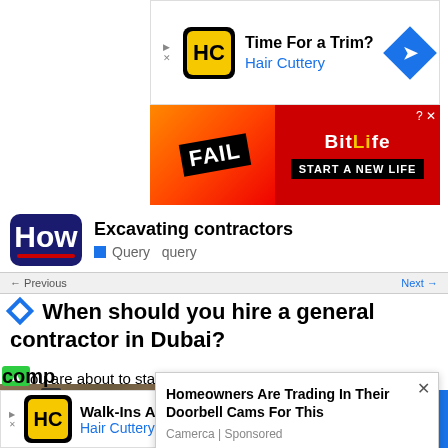[Figure (screenshot): Hair Cuttery ad banner: Time For a Trim? Hair Cuttery with logo and blue diamond arrow]
[Figure (screenshot): BitLife advertisement: FAIL animated graphic with START A NEW LIFE text on red/orange background]
[Figure (screenshot): Howstuffworks logo with search query: Excavating contractors, Query query]
[Figure (screenshot): Navigation bar with Previous/Next links]
When should you hire a general contractor in Dubai?
If you are about to start a home renovation, renovation or construction project, you probably want to hire a general contractor in Dubai, Dubai, United Arab Emirates. These
[Figure (photo): Camera mounted on stone wall]
[Figure (screenshot): Popup ad: Homeowners Are Trading In Their Doorbell Cams For This - Camerca | Sponsored]
[Figure (screenshot): Bottom Hair Cuttery ad: Walk-Ins Available Hair Cuttery with logo and blue diamond arrow. ntents tab visible on right.]